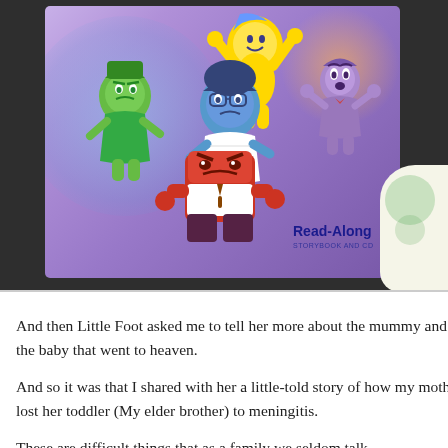[Figure (photo): Photo of an Inside Out Read-Along Storybook and CD, showing the animated characters Joy (yellow), Disgust (green), Sadness (blue), Fear (purple), and Anger (red), on a purple background. The text 'Read-Along STORYBOOK AND CD' is visible on the cover. The book is resting on a dark surface next to a pillow.]
And then Little Foot asked me to tell her more about the mummy and the baby that went to heaven.
And so it was that I shared with her a little-told story of how my mother lost her toddler (My elder brother) to meningitis.
These are difficult things that as a family we seldom talk